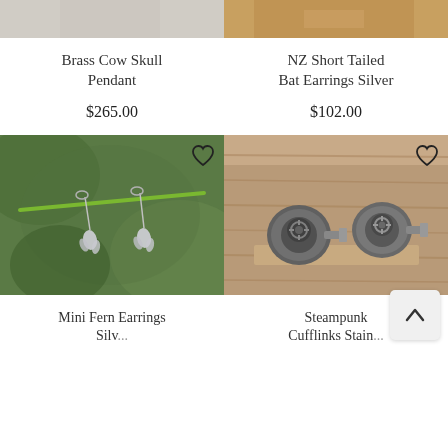[Figure (photo): Partial product photo of Brass Cow Skull Pendant (top cropped), grey/beige background]
Brass Cow Skull Pendant
$265.00
[Figure (photo): Partial product photo of NZ Short Tailed Bat Earrings Silver, golden/amber yarn background (cropped at top)]
NZ Short Tailed Bat Earrings Silver
$102.00
[Figure (photo): Mini Fern Earrings Silver — silver leaf-shaped earrings hanging from a green plant stem against blurred green foliage background, with heart/favourite icon in top right]
Mini Fern Earrings Silver
[Figure (photo): Steampunk Cufflinks — two metallic steampunk-style cufflinks on a wooden surface with heart/favourite icon in top right]
Steampunk Cufflinks Stain...